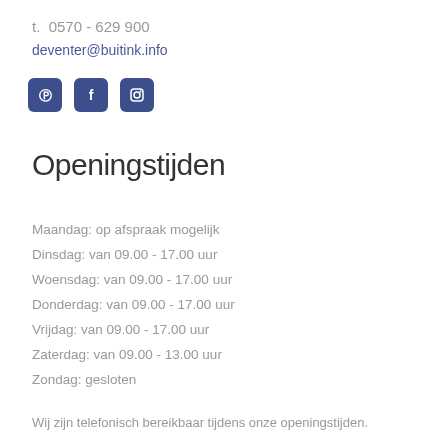t.  0570 - 629 900
deventer@buitink.info
[Figure (illustration): Three social media icons: Pinterest, Facebook, Instagram — dark blue rounded squares]
Openingstijden
Maandag: op afspraak mogelijk
Dinsdag: van 09.00 - 17.00 uur
Woensdag: van 09.00 - 17.00 uur
Donderdag: van 09.00 - 17.00 uur
Vrijdag: van 09.00 - 17.00 uur
Zaterdag: van 09.00 - 13.00 uur
Zondag: gesloten
Wij zijn telefonisch bereikbaar tijdens onze openingstijden.